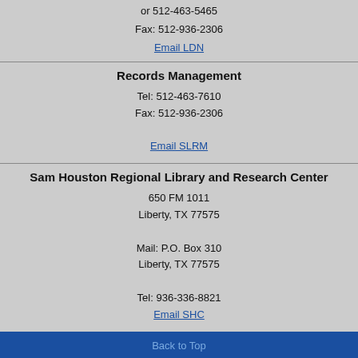or 512-463-5465
Fax: 512-936-2306
Email LDN
Records Management
Tel: 512-463-7610
Fax: 512-936-2306
Email SLRM
Sam Houston Regional Library and Research Center
650 FM 1011
Liberty, TX 77575

Mail: P.O. Box 310
Liberty, TX 77575

Tel: 936-336-8821
Email SHC
Back to Top